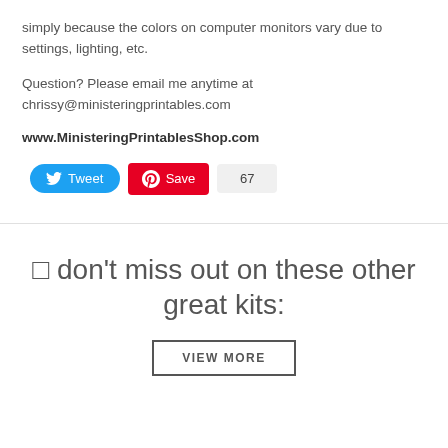simply because the colors on computer monitors vary due to settings, lighting, etc.
Question? Please email me anytime at chrissy@ministeringprintables.com
www.MinisteringPrintablesShop.com
[Figure (screenshot): Social media buttons: Tweet (blue), Save (red Pinterest), count badge showing 67]
🔲 don't miss out on these other great kits:
VIEW MORE